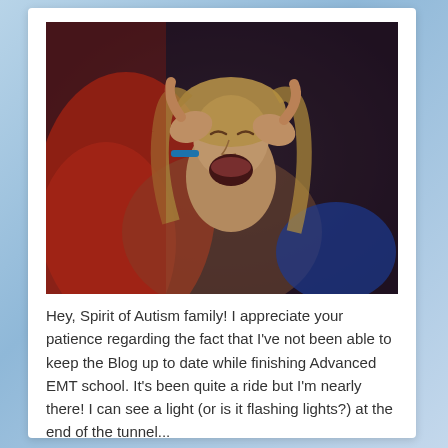[Figure (photo): A young woman with long blonde hair, eyes closed and mouth open in distress or anguish, hands pressed against her temples/head. She wears a blue wristband and blue top with red clothing visible. Dark dramatic background.]
Hey, Spirit of Autism family! I appreciate your patience regarding the fact that I've not been able to keep the Blog up to date while finishing Advanced EMT school. It's been quite a ride but I'm nearly there! I can see a light (or is it flashing lights?) at the end of the tunnel...